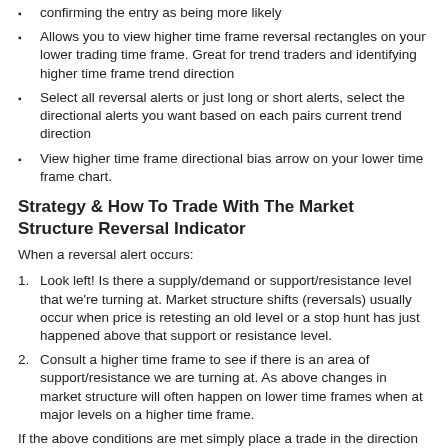confirming the entry as being more likely
Allows you to view higher time frame reversal rectangles on your lower trading time frame. Great for trend traders and identifying higher time frame trend direction
Select all reversal alerts or just long or short alerts, select the directional alerts you want based on each pairs current trend direction
View higher time frame directional bias arrow on your lower time frame chart.
Strategy & How To Trade With The Market Structure Reversal Indicator
When a reversal alert occurs:
Look left! Is there a supply/demand or support/resistance level that we're turning at. Market structure shifts (reversals) usually occur when price is retesting an old level or a stop hunt has just happened above that support or resistance level.
Consult a higher time frame to see if there is an area of support/resistance we are turning at. As above changes in market structure will often happen on lower time frames when at major levels on a higher time frame.
If the above conditions are met simply place a trade in the direction of the reversal.
You can add additional indicators as validation or use this indicator to add further validation to your existing indicators or strategy!